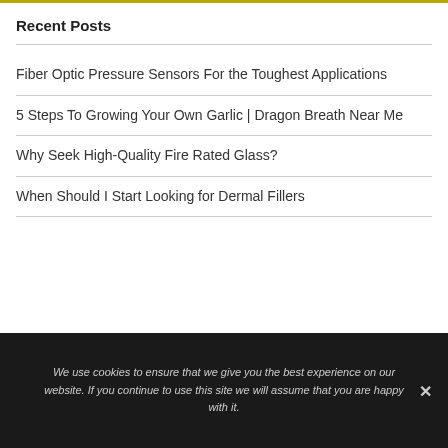Recent Posts
Fiber Optic Pressure Sensors For the Toughest Applications
5 Steps To Growing Your Own Garlic | Dragon Breath Near Me
Why Seek High-Quality Fire Rated Glass?
When Should I Start Looking for Dermal Fillers
We use cookies to ensure that we give you the best experience on our website. If you continue to use this site we will assume that you are happy with it.